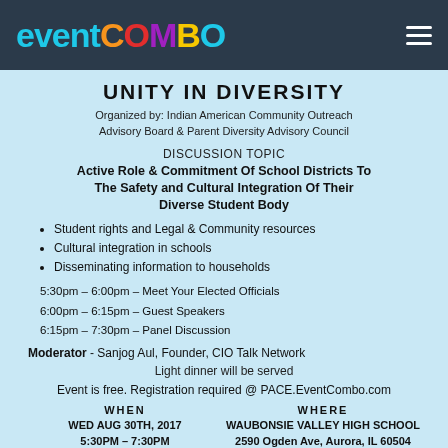eventCOMBO
UNITY IN DIVERSITY
Organized by: Indian American Community Outreach Advisory Board & Parent Diversity Advisory Council
DISCUSSION TOPIC
Active Role & Commitment Of School Districts To The Safety and Cultural Integration Of Their Diverse Student Body
Student rights and Legal & Community resources
Cultural integration in schools
Disseminating information to households
5:30pm – 6:00pm – Meet Your Elected Officials
6:00pm – 6:15pm – Guest Speakers
6:15pm – 7:30pm – Panel Discussion
Moderator - Sanjog Aul, Founder, CIO Talk Network
Light dinner will be served
Event is free. Registration required @ PACE.EventCombo.com
WHEN
WED AUG 30TH, 2017
5:30PM – 7:30PM
WHERE
WAUBONSIE VALLEY HIGH SCHOOL
2590 Ogden Ave, Aurora, IL 60504